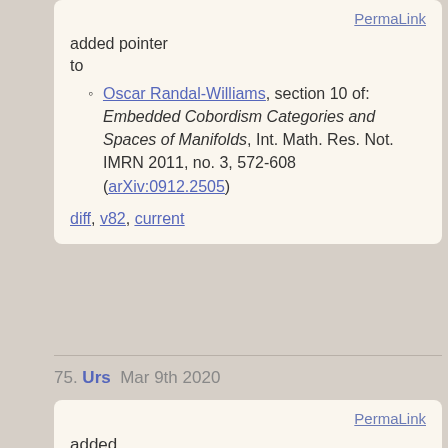PermaLink
added pointer to
Oscar Randal-Williams, section 10 of: Embedded Cobordism Categories and Spaces of Manifolds, Int. Math. Res. Not. IMRN 2011, no. 3, 572-608 (arXiv:0912.2505)
diff, v82, current
75. Urs  Mar 9th 2020
PermaLink
added publication data for the